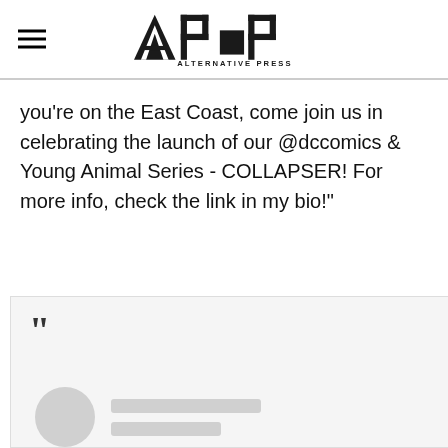Alternative Press
you're on the East Coast, come join us in celebrating the launch of our @dccomics & Young Animal Series - COLLAPSER! For more info, check the link in my bio!"
[Figure (screenshot): Embedded social media post with opening quotation mark and blurred/placeholder profile avatar with two grey placeholder lines for name/handle]